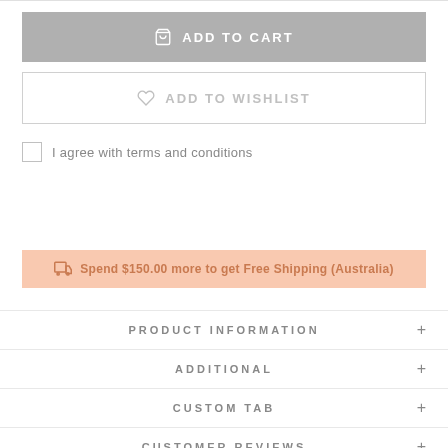[Figure (screenshot): Add to Cart button - gray background with shopping bag icon and white text]
[Figure (screenshot): Add to Wishlist button - white background with heart icon and gray text, bordered]
I agree with terms and conditions
Spend $150.00 more to get Free Shipping (Australia)
PRODUCT INFORMATION
ADDITIONAL
CUSTOM TAB
CUSTOMER REVIEWS